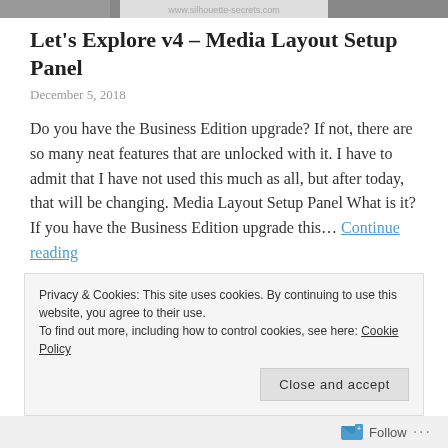[Figure (photo): Cropped top banner with partial images and a website URL visible]
Let's Explore v4 – Media Layout Setup Panel
December 5, 2018
Do you have the Business Edition upgrade? If not, there are so many neat features that are unlocked with it. I have to admit that I have not used this much as all, but after today, that will be changing. Media Layout Setup Panel What is it? If you have the Business Edition upgrade this… Continue reading
6 Comments
Privacy & Cookies: This site uses cookies. By continuing to use this website, you agree to their use.
To find out more, including how to control cookies, see here: Cookie Policy
Close and accept
Follow ...